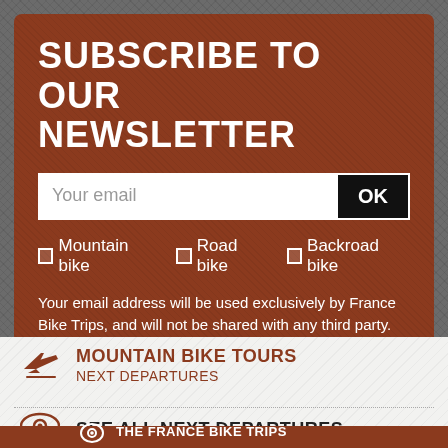SUBSCRIBE TO OUR NEWSLETTER
Your email
Mountain bike  Road bike  Backroad bike
Your email address will be used exclusively by France Bike Trips, and will not be shared with any third party.  You will receive news from France Bike Trips (with the option to unsubscribe at any time). UNSUBSCRIBE.
MOUNTAIN BIKE TOURS
NEXT DEPARTURES
SEE ALL NEXT DEPARTURES
THE FRANCE BIKE TRIPS